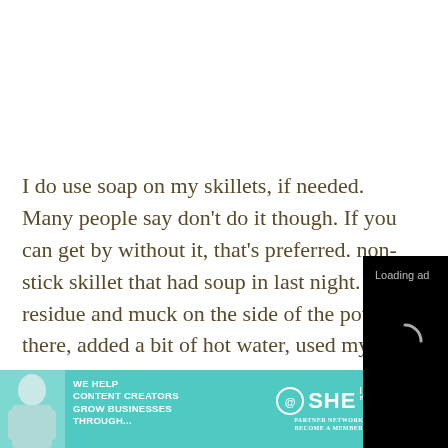I do use soap on my skillets, if needed. Many people say don't do it though. If you can get by without it, that's p[referred]. non-stick skillet th[at had] soup in last night. was residue and m[uck on the] side of the pot so there, added a bit of hot water, used my Lodge
[Figure (screenshot): Black video player overlay showing 'Loading ad' text with a circular spinner icon and playback controls (pause, expand, mute) at the bottom]
[Figure (screenshot): Advertisement banner for SHE Media Partner Network in teal/turquoise color. Shows a woman with laptop, text 'WE HELP CONTENT CREATORS GROW BUSINESSES THROUGH...' and SHE Partner Network logo with 'LEARN MORE' button and 'BECOME A MEMBER' text]